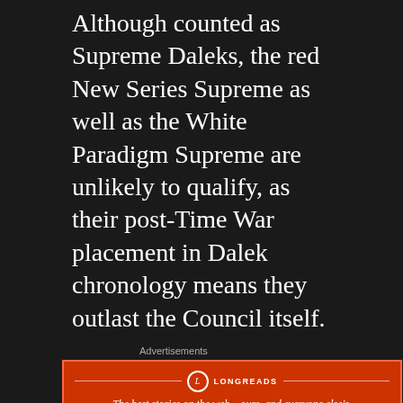Although counted as Supreme Daleks, the red New Series Supreme as well as the White Paradigm Supreme are unlikely to qualify, as their post-Time War placement in Dalek chronology means they outlast the Council itself.
Advertisements
[Figure (other): Longreads advertisement banner with red background. Logo circle with 'L', text reads: The best stories on the web – ours, and everyone else's.]
REPORT THIS AD
Whilst there are probably dozens, if not
ADVERTISEMENTS
[Figure (other): DuckDuckGo advertisement with orange-red background showing phone mockup. Text: Search, browse, and email with more privacy. All in One Free App. DuckDuckGo logo visible.]